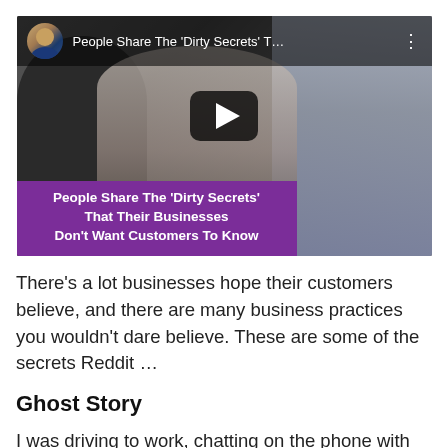[Figure (screenshot): YouTube video thumbnail showing two people in a kitchen/work setting. Top bar shows avatar, title 'People Share The Dirty Secrets T...' and menu icon. Large play button in center. Purple banner overlay at bottom with bold white text: People Share The 'Dirty Secrets' That Their Businesses Don't Want Customers To Know]
There's a lot businesses hope their customers believe, and there are many business practices you wouldn't dare believe. These are some of the secrets Reddit ...
Ghost Story
I was driving to work, chatting on the phone with my wife to pass the time (6-8 hour drive out to